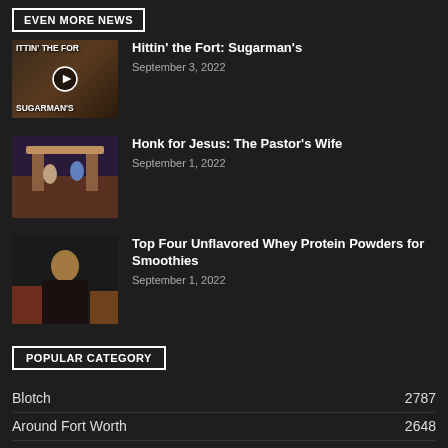EVEN MORE NEWS
Hittin' the Fort: Sugarman's
September 3, 2022
Honk for Jesus: The Pastor's Wife
September 1, 2022
Top Four Unflavored Whey Protein Powders for Smoothies
September 1, 2022
POPULAR CATEGORY
Blotch	2787
Around Fort Worth	2648